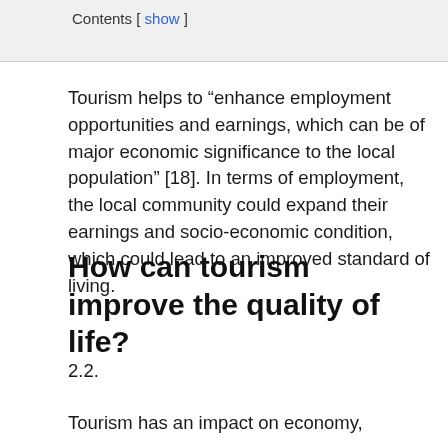Contents [ show ]
Tourism helps to “enhance employment opportunities and earnings, which can be of major economic significance to the local population” [18]. In terms of employment, the local community could expand their earnings and socio-economic condition, which could lead to an improved standard of living.
How can tourism improve the quality of life?
2.2.
Tourism has an impact on economy,